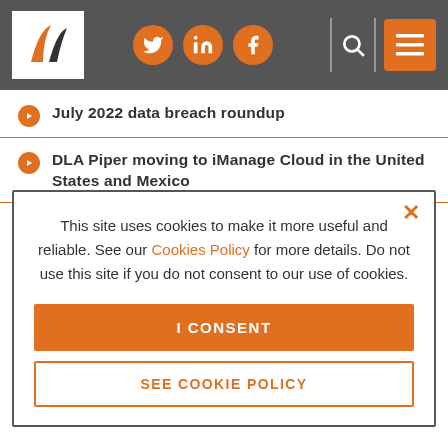Navigation header with logo, social icons (Twitter, LinkedIn, Facebook), search, and menu
July 2022 data breach roundup
DLA Piper moving to iManage Cloud in the United States and Mexico
Apprenticeships are a much more modern approach to learning
This site uses cookies to make it more useful and reliable. See our Cookies Policy for more details. Do not use this site if you do not consent to our use of cookies.
I CONSENT
SEE COOKIE POLICY